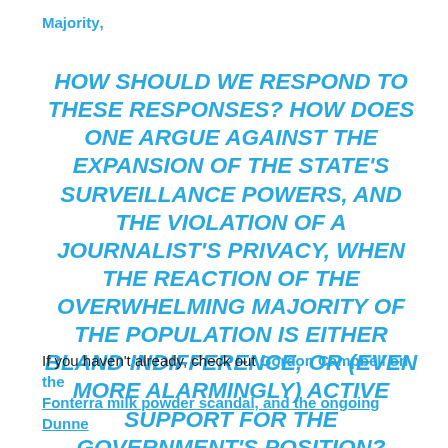Majority,
HOW SHOULD WE RESPOND TO THESE RESPONSES? HOW DOES ONE ARGUE AGAINST THE EXPANSION OF THE STATE'S SURVEILLANCE POWERS, AND THE VIOLATION OF A JOURNALIST'S PRIVACY, WHEN THE REACTION OF THE OVERWHELMING MAJORITY OF THE POPULATION IS EITHER BLAND INDIFFERENCE, OR (EVEN MORE ALARMINGLY) ACTIVE SUPPORT FOR THE GOVERNMENT'S POSITION?
If you haven't already, check out Gordon Campbell on the Fonterra milk powder scandal, and the ongoing Dunne